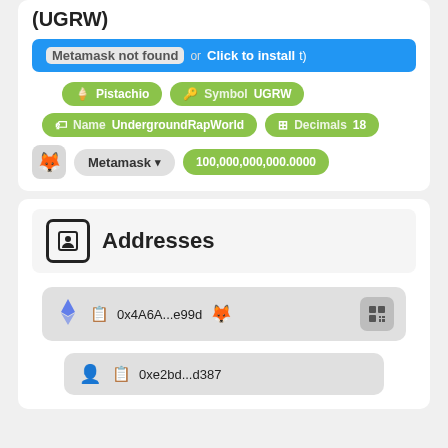(UGRW)
Metamask not found or Click to install
Pistachio | Symbol UGRW | Name UndergroundRapWorld | Decimals 18
Metamask ▾ | 100,000,000,000.0000
Addresses
0x4A6A...e99d
0xe2bd...d387